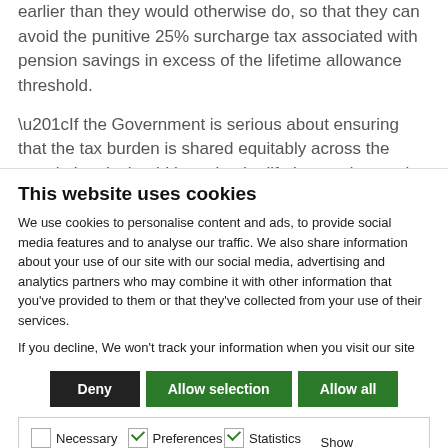earlier than they would otherwise do, so that they can avoid the punitive 25% surcharge tax associated with pension savings in excess of the lifetime allowance threshold.
“If the Government is serious about ensuring that the tax burden is shared equitably across the population, it should have let the lifetime and annual pension
This website uses cookies
We use cookies to personalise content and ads, to provide social media features and to analyse our traffic. We also share information about your use of our site with our social media, advertising and analytics partners who may combine it with other information that you’ve provided to them or that they’ve collected from your use of their services.
If you decline, We won’t track your information when you visit our site
Deny | Allow selection | Allow all
| Necessary | Preferences | Statistics | Show details |
| Marketing |  |  |  |